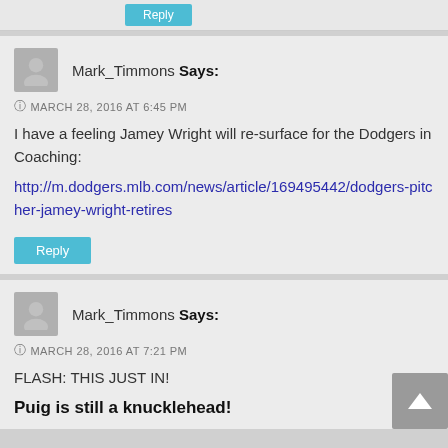Mark_Timmons Says:
MARCH 28, 2016 AT 6:45 PM
I have a feeling Jamey Wright will re-surface for the Dodgers in Coaching:
http://m.dodgers.mlb.com/news/article/169495442/dodgers-pitcher-jamey-wright-retires
Mark_Timmons Says:
MARCH 28, 2016 AT 7:21 PM
FLASH: THIS JUST IN!
Puig is still a knucklehead!